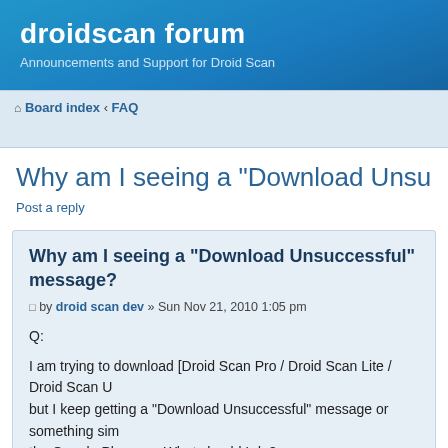droidscan forum
Announcements and Support for Droid Scan
Board index « FAQ
Why am I seeing a "Download Unsuccessful" me...
Post a reply
Why am I seeing a "Download Unsuccessful" message?
by droid scan dev » Sun Nov 21, 2010 1:05 pm
Q:

I am trying to download [Droid Scan Pro / Droid Scan Lite / Droid Scan U... but I keep getting a "Download Unsuccessful" message or something sim... the Google Play app. What should I do?

A: